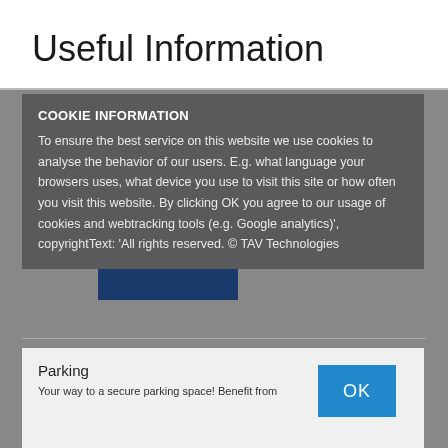Useful Information
COOKIE INFORMATION
To ensure the best service on this website we use cookies to analyse the behavior of our users. E.g. what language your browsers uses, what device you use to visit this site or how often you visit this website. By clicking OK you agree to our usage of cookies and webtracking tools (e.g. Google analytics)', copyrightText: 'All rights reserved. © TAV Technologies
Parking
Your way to a secure parking space! Benefit from